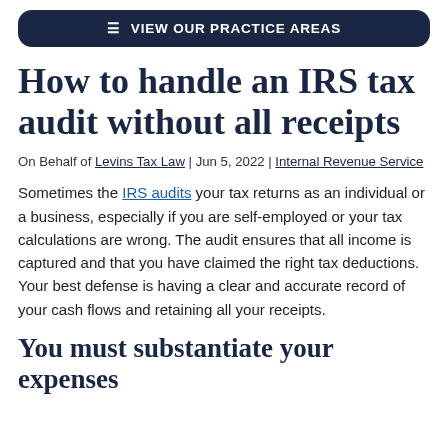VIEW OUR PRACTICE AREAS
How to handle an IRS tax audit without all receipts
On Behalf of Levins Tax Law | Jun 5, 2022 | Internal Revenue Service
Sometimes the IRS audits your tax returns as an individual or a business, especially if you are self-employed or your tax calculations are wrong. The audit ensures that all income is captured and that you have claimed the right tax deductions. Your best defense is having a clear and accurate record of your cash flows and retaining all your receipts.
You must substantiate your expenses